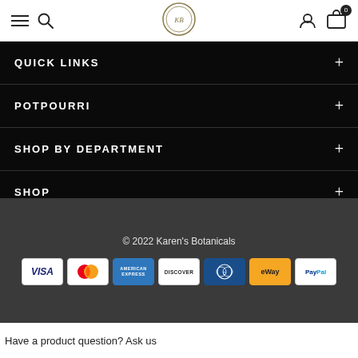Navigation header with hamburger menu, search icon, Karen's Botanicals logo, user icon, and cart icon (0 items)
QUICK LINKS
POTPOURRI
SHOP BY DEPARTMENT
SHOP
© 2022 Karen's Botanicals
[Figure (logo): Payment method icons: VISA, Mastercard, American Express, Discover, Diners Club, eWay, PayPal]
Have a product question? Ask us